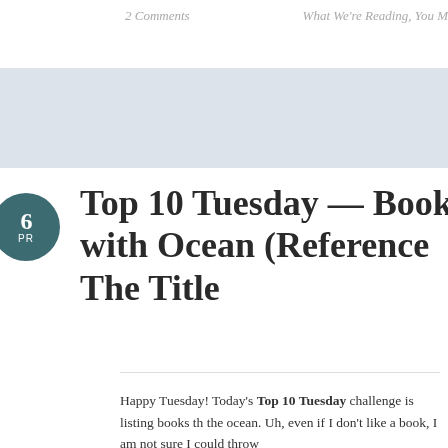2 Comments    What We're Reading, You M
Top 10 Tuesday — Book with Ocean (Reference The Title
Happy Tuesday! Today's Top 10 Tuesday challenge is listing books th the ocean. Uh, even if I don't like a book, I am not sure I could throw